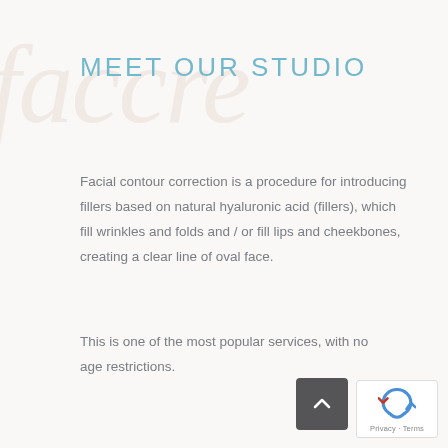MEET OUR STUDIO
Facial contour correction is a procedure for introducing fillers based on natural hyaluronic acid (fillers), which fill wrinkles and folds and / or fill lips and cheekbones, creating a clear line of oval face.
This is one of the most popular services, with no age restrictions.